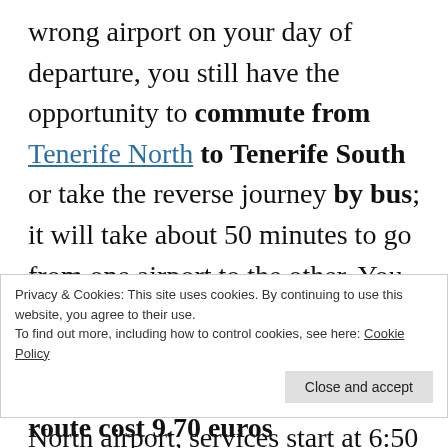wrong airport on your day of departure, you still have the opportunity to commute from Tenerife North to Tenerife South or take the reverse journey by bus; it will take about 50 minutes to go from one airport to the other. You must take bus 343 outside the arrivals hall of either terminal; when travelling from Tenerife North airport, services start at 6:50 and
Privacy & Cookies: This site uses cookies. By continuing to use this website, you agree to their use.
To find out more, including how to control cookies, see here: Cookie Policy
Close and accept
route cost 9.70 euros